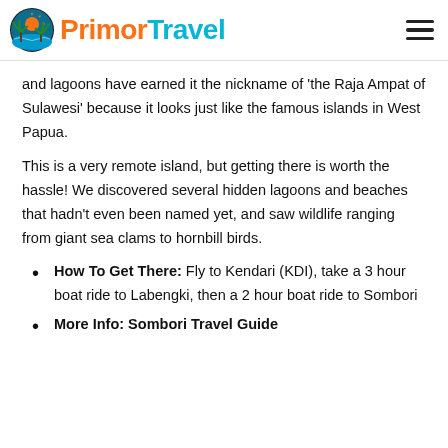PrimorTravel
and lagoons have earned it the nickname of 'the Raja Ampat of Sulawesi' because it looks just like the famous islands in West Papua.
This is a very remote island, but getting there is worth the hassle! We discovered several hidden lagoons and beaches that hadn't even been named yet, and saw wildlife ranging from giant sea clams to hornbill birds.
How To Get There: Fly to Kendari (KDI), take a 3 hour boat ride to Labengki, then a 2 hour boat ride to Sombori
More Info: Sombori Travel Guide